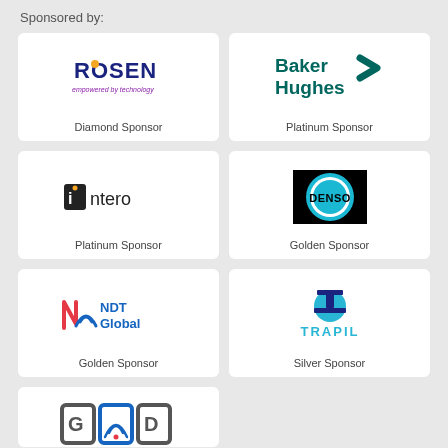Sponsored by:
[Figure (logo): ROSEN empowered by technology logo]
Diamond Sponsor
[Figure (logo): Baker Hughes logo]
Platinum Sponsor
[Figure (logo): Intero logo]
Platinum Sponsor
[Figure (logo): DENSO logo]
Golden Sponsor
[Figure (logo): NDT Global logo]
Golden Sponsor
[Figure (logo): TRAPIL logo]
Silver Sponsor
[Figure (logo): GLS logo (partial, bottom of page)]